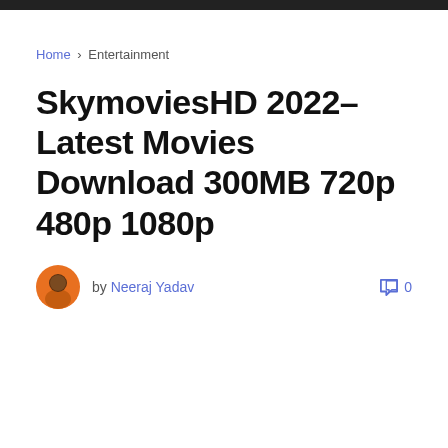Home › Entertainment
SkymoviesHD 2022– Latest Movies Download 300MB 720p 480p 1080p
by Neeraj Yadav   0